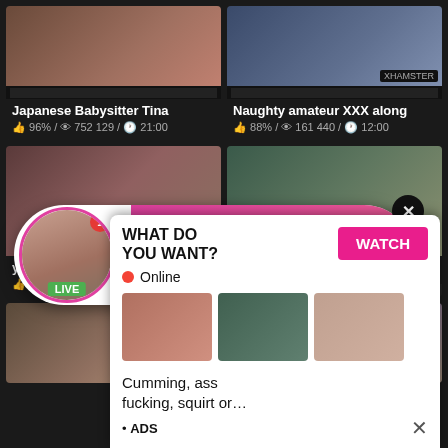[Figure (screenshot): Adult video thumbnail grid with overlay ads. Top row: 'Japanese Babysitter Tina' 96%/752 129/21:00 and 'Naughty amateur XXX along' 88%/161 440/12:00. Middle row: two more video thumbnails with a live stream ad bubble overlay for 'Jeniffer 2000'. Bottom section: video thumbnails with a bottom-sheet ad 'WHAT DO YOU WANT? WATCH Online ... Cumming, ass fucking, squirt or... ADS'.]